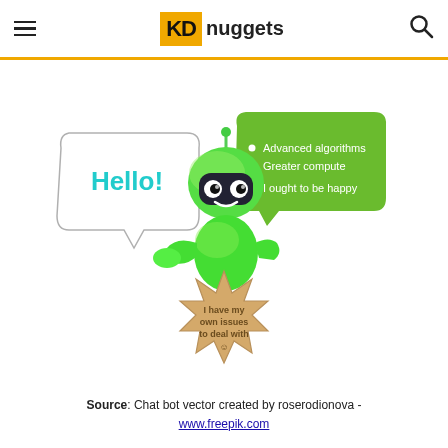KD nuggets
[Figure (illustration): A green cartoon robot/chatbot character waving hello, with a speech bubble saying 'Hello!' on the left, a green rounded rectangle speech bubble on the upper right listing 'Advanced algorithms', 'Greater compute', 'I ought to be happy', and a starburst/spiky shape at the bottom center with text 'I have my own issues to deal with ☺']
Source: Chat bot vector created by roserodionova - www.freepik.com